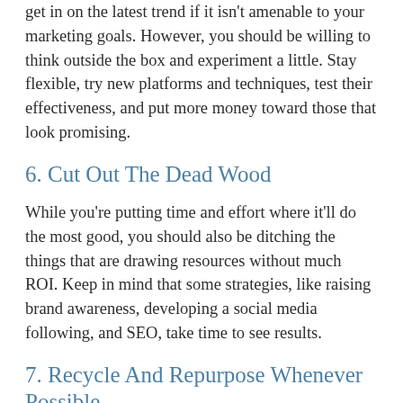get in on the latest trend if it isn't amenable to your marketing goals. However, you should be willing to think outside the box and experiment a little. Stay flexible, try new platforms and techniques, test their effectiveness, and put more money toward those that look promising.
6. Cut Out The Dead Wood
While you're putting time and effort where it'll do the most good, you should also be ditching the things that are drawing resources without much ROI. Keep in mind that some strategies, like raising brand awareness, developing a social media following, and SEO, take time to see results.
7. Recycle And Repurpose Whenever Possible